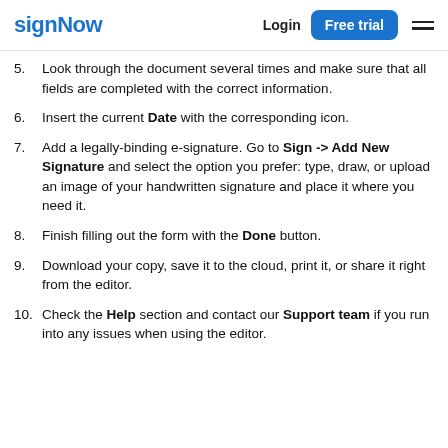signNow | Login | Free trial
5. Look through the document several times and make sure that all fields are completed with the correct information.
6. Insert the current Date with the corresponding icon.
7. Add a legally-binding e-signature. Go to Sign -> Add New Signature and select the option you prefer: type, draw, or upload an image of your handwritten signature and place it where you need it.
8. Finish filling out the form with the Done button.
9. Download your copy, save it to the cloud, print it, or share it right from the editor.
10. Check the Help section and contact our Support team if you run into any issues when using the editor.